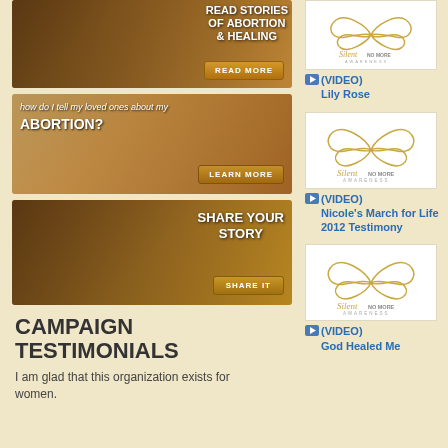[Figure (photo): Banner image with text 'READ STORIES OF ABORTION & HEALING' and READ MORE button]
[Figure (photo): Banner image with text 'how do I tell my loved ones about my ABORTION?' and LEARN MORE button]
[Figure (photo): Banner image with text 'SHARE YOUR STORY' and SHARE IT button]
CAMPAIGN TESTIMONIALS
I am glad that this organization exists for women.
[Figure (logo): Silent No More Awareness logo - first]
(VIDEO) Lily Rose
[Figure (logo): Silent No More Awareness logo - second]
(VIDEO) Nicole's March for Life 2012 Testimony
[Figure (logo): Silent No More Awareness logo - third]
(VIDEO) God Healed Me